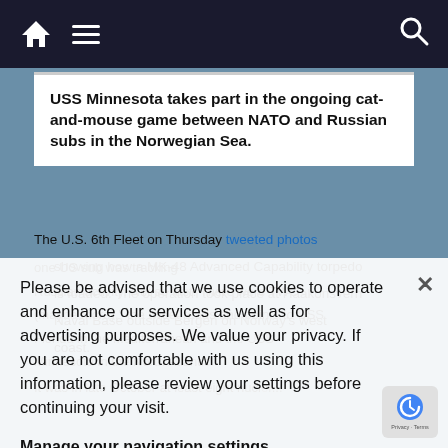Navigation bar with home, menu, and search icons
USS Minnesota takes part in the ongoing cat-and-mouse game between NATO and Russian subs in the Norwegian Sea.
The U.S. 6th Fleet on Thursday tweeted photos showing how a MK-48 Advanced Capability torpedo is loaded. The operation took place at Haakonsvern Naval Base outside Bergen on Norway's west coast.
Please be advised that we use cookies to operate and enhance our services as well as for advertising purposes. We value your privacy. If you are not comfortable with us using this information, please review your settings before continuing your visit.
Manage your navigation settings
Find out more
one US sub was tracking Russian activity. Not so fast! There were TWO (maybe more), the tweet reads and points to USS Florida in the Mediterranean and the USS Minnesota in the North Atlantic.
It was in late October at least eight nuclear...